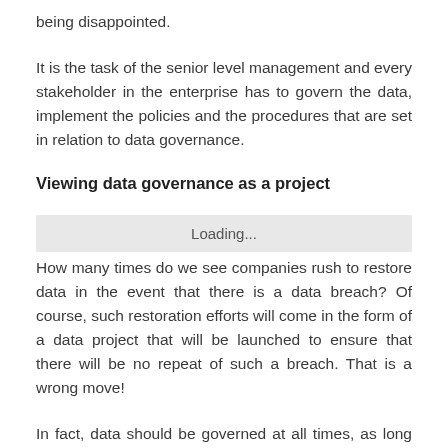being disappointed.
It is the task of the senior level management and every stakeholder in the enterprise has to govern the data, implement the policies and the procedures that are set in relation to data governance.
Viewing data governance as a project
[Figure (other): Loading... placeholder bar with grey background]
How many times do we see companies rush to restore data in the event that there is a data breach? Of course, such restoration efforts will come in the form of a data project that will be launched to ensure that there will be no repeat of such a breach. That is a wrong move!
In fact, data should be governed at all times, as long as there is new data flowing in and out of the company or if systems are